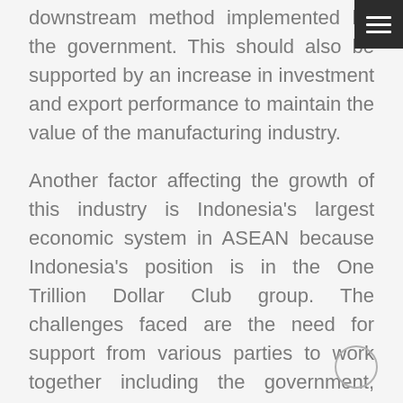downstream method implemented by the government. This should also be supported by an increase in investment and export performance to maintain the value of the manufacturing industry.
Another factor affecting the growth of this industry is Indonesia's largest economic system in ASEAN because Indonesia's position is in the One Trillion Dollar Club group. The challenges faced are the need for support from various parties to work together including the government, employers, and the general public.